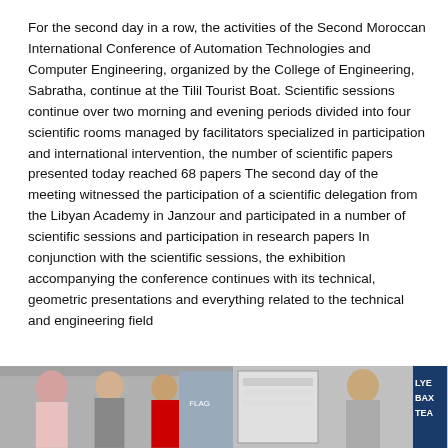For the second day in a row, the activities of the Second Moroccan International Conference of Automation Technologies and Computer Engineering, organized by the College of Engineering, Sabratha, continue at the Tilil Tourist Boat. Scientific sessions continue over two morning and evening periods divided into four scientific rooms managed by facilitators specialized in participation and international intervention, the number of scientific papers presented today reached 68 papers The second day of the meeting witnessed the participation of a scientific delegation from the Libyan Academy in Janzour and participated in a number of scientific sessions and participation in research papers In conjunction with the scientific sessions, the exhibition accompanying the conference continues with its technical, geometric presentations and everything related to the technical and engineering field
[Figure (photo): Two side-by-side photographs from the conference: left photo shows a group of people including a woman in a pink hijab and others in discussion; right photo shows a person in a grey shirt near a presentation board with a 'LYE BAX TEA' text visible on banner.]